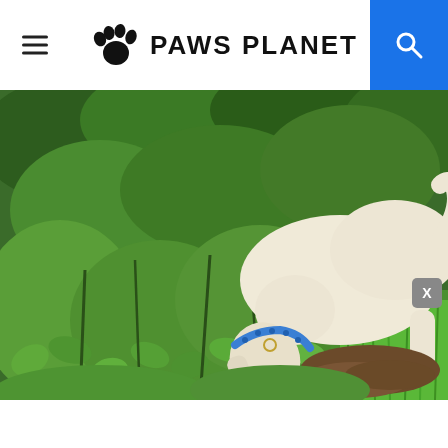PAWS PLANET
[Figure (photo): A white/cream colored dog with a blue collar sniffing or digging into dense green leafy bushes/shrubs outdoors. The dog is bending its head down into the vegetation. Green grass is visible on the right side of the image.]